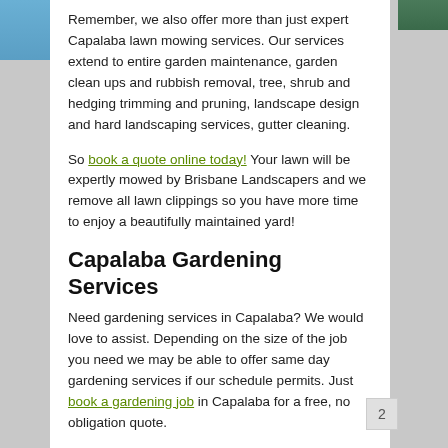Remember, we also offer more than just expert Capalaba lawn mowing services. Our services extend to entire garden maintenance, garden clean ups and rubbish removal, tree, shrub and hedging trimming and pruning, landscape design and hard landscaping services, gutter cleaning.
So book a quote online today! Your lawn will be expertly mowed by Brisbane Landscapers and we remove all lawn clippings so you have more time to enjoy a beautifully maintained yard!
Capalaba Gardening Services
Need gardening services in Capalaba? We would love to assist. Depending on the size of the job you need we may be able to offer same day gardening services if our schedule permits. Just book a gardening job in Capalaba for a free, no obligation quote.